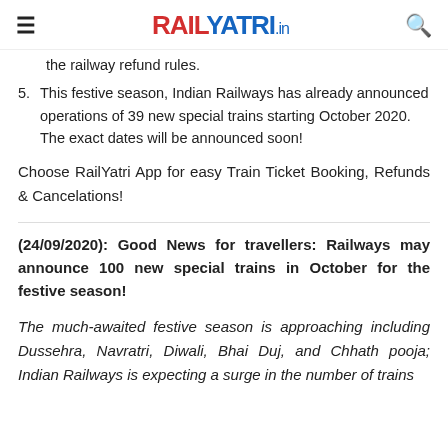RAILYATRI.in
the railway refund rules.
5. This festive season, Indian Railways has already announced operations of 39 new special trains starting October 2020. The exact dates will be announced soon!
Choose RailYatri App for easy Train Ticket Booking, Refunds & Cancelations!
(24/09/2020): Good News for travellers: Railways may announce 100 new special trains in October for the festive season!
The much-awaited festive season is approaching including Dussehra, Navratri, Diwali, Bhai Duj, and Chhath pooja; Indian Railways is expecting a surge in the number of trains